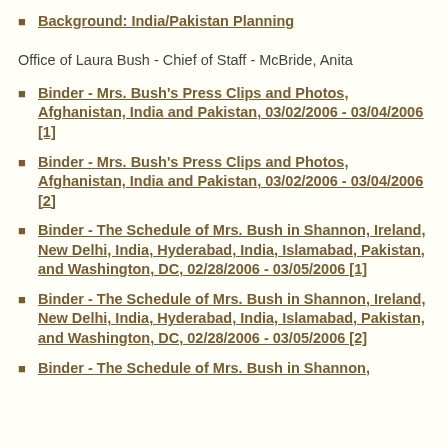Background: India/Pakistan Planning
Office of Laura Bush - Chief of Staff - McBride, Anita
Binder - Mrs. Bush's Press Clips and Photos, Afghanistan, India and Pakistan, 03/02/2006 - 03/04/2006 [1]
Binder - Mrs. Bush's Press Clips and Photos, Afghanistan, India and Pakistan, 03/02/2006 - 03/04/2006 [2]
Binder - The Schedule of Mrs. Bush in Shannon, Ireland, New Delhi, India, Hyderabad, India, Islamabad, Pakistan, and Washington, DC, 02/28/2006 - 03/05/2006 [1]
Binder - The Schedule of Mrs. Bush in Shannon, Ireland, New Delhi, India, Hyderabad, India, Islamabad, Pakistan, and Washington, DC, 02/28/2006 - 03/05/2006 [2]
Binder - The Schedule of Mrs. Bush in Shannon,